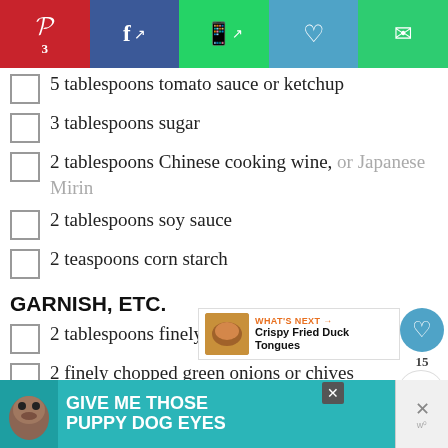[Figure (other): Social sharing bar with Pinterest (red), Facebook (dark blue), WhatsApp (green), heart (teal), and mail (green) buttons]
5 tablespoons tomato sauce or ketchup
3 tablespoons sugar
2 tablespoons Chinese cooking wine, or Japanese Mirin
2 tablespoons soy sauce
2 teaspoons corn starch
GARNISH, ETC.
2 tablespoons finely chopped cilantro
2 finely chopped green onions or chives
2-4 cups peanut or vegetable oil
1 cup rice flour, potato flour or regular flour for dredging
1/2 cup chopped, pickled chiles (optional)
[Figure (other): What's Next promo showing Crispy Fried Duck Tongues]
[Figure (other): Advertisement banner: Give Me Those Puppy Dog Eyes]